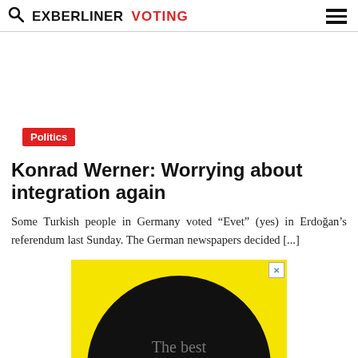EXBERLINER VOTING
Politics
Konrad Werner: Worrying about integration again
Some Turkish people in Germany voted “Evet” (yes) in Erdoğan’s referendum last Sunday. The German newspapers decided [...]
[Figure (illustration): Advertisement banner with yellow background and black circle containing grey text: 'The best lakes, hikes, food, family fun,']